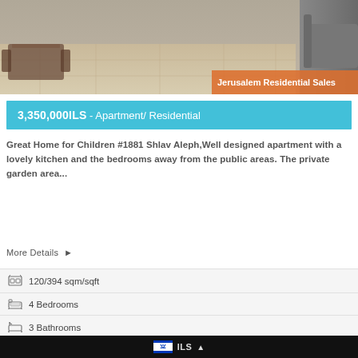[Figure (photo): Interior photo of an apartment showing a dining table, chairs, tiled floor, and a grey sofa. An orange label reads 'Jerusalem Residential Sales' in the bottom right corner.]
3,350,000ILS - Apartment/ Residential
Great Home for Children #1881 Shlav Aleph,Well designed apartment with a lovely kitchen and the bedrooms away from the public areas. The private garden area...
More Details ▶
120/394 sqm/sqft
4 Bedrooms
3 Bathrooms
ILS ▲